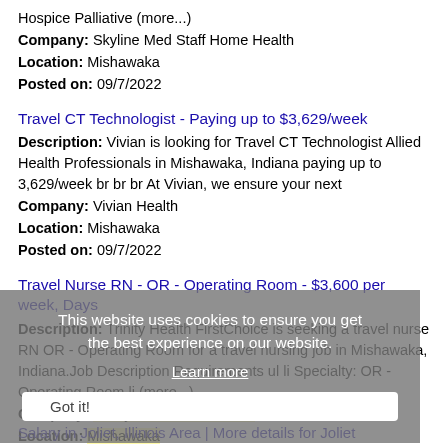Hospice Palliative (more...)
Company: Skyline Med Staff Home Health
Location: Mishawaka
Posted on: 09/7/2022
Travel CT Technologist - Paying up to $3,629/week
Description: Vivian is looking for Travel CT Technologist Allied Health Professionals in Mishawaka, Indiana paying up to 3,629/week br br br At Vivian, we ensure your next
Company: Vivian Health
Location: Mishawaka
Posted on: 09/7/2022
Travel Nurse RN - OR - Operating Room - $3,600 per week, Days
Description: Trinity Health FirstChoice is seeking a travel nurse RN OR - Operating Room for a travel nursing job in Mishawaka, Indiana.Job Description Requirements ul li Specialty: OR - Operating Room li (more...)
Company: Trinity Health FirstChoice
Location: Mishawaka
Posted on: 09/7/2022
Salary in Joliet, Illinois Area | More details for Joliet